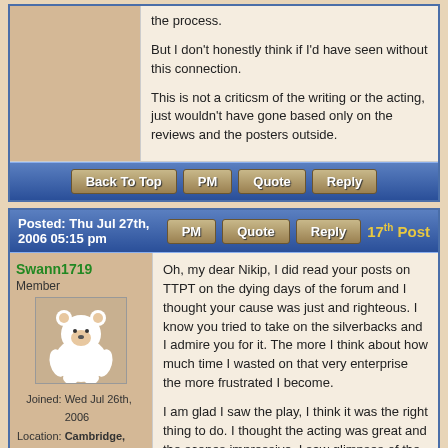the process.

But I don't honestly think if I'd have seen without this connection.

This is not a criticsm of the writing or the acting, just wouldn't have gone based only on the reviews and the posters outside.
Back To Top | PM | Quote | Reply
Posted: Thu Jul 27th, 2006 05:15 pm | PM | Quote | Reply | 17th Post
Swann1719
Member
Joined: Wed Jul 26th, 2006
Location: Cambridge, United Kingdom
Posts: 269
Status: Offline
Mana:
Oh, my dear Nikip, I did read your posts on TTPT on the dying days of the forum and I thought your cause was just and righteous. I know you tried to take on the silverbacks and I admire you for it.  The more I think about how much time I wasted on that very enterprise the more frustrated I become.

I am glad I saw the play, I think it was the right thing to do.  I thought the acting was great and the scenes impressive.  I saw glimpses of the beginnings of what could have been a compelling play but instead, I thought it was kind of a mess with a cheap cop-out ending.  I am sorry to have that conclusion but that's the one I have.

Let me ask you:

1  What made you care about Clair and Robbie's differences?  Did it frustrate you that there was lots of conflict between them